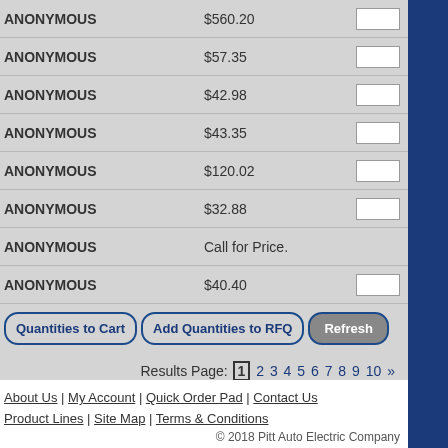| Name | Price | Qty |
| --- | --- | --- |
| ANONYMOUS | $560.20 |  |
| ANONYMOUS | $57.35 |  |
| ANONYMOUS | $42.98 |  |
| ANONYMOUS | $43.35 |  |
| ANONYMOUS | $120.02 |  |
| ANONYMOUS | $32.88 |  |
| ANONYMOUS | Call for Price. |  |
| ANONYMOUS | $40.40 |  |
Add Quantities to Cart | Add Quantities to RFQ | Refresh
Results Page: 1 2 3 4 5 6 7 8 9 10 »
About Us | My Account | Quick Order Pad | Contact Us | Product Lines | Site Map | Terms & Conditions | © 2018 Pitt Auto Electric Company